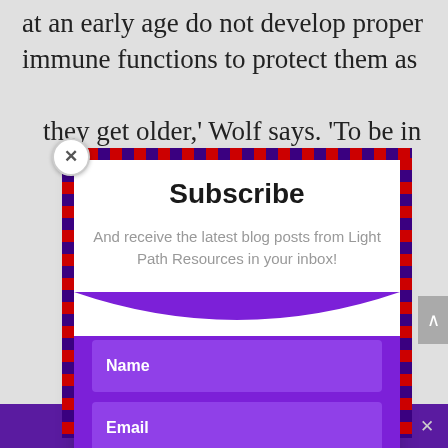at an early age do not develop proper immune functions to protect them as they get older,' Wolf says. 'To be in
Subscribe
And receive the latest blog posts from Light Path Resources in your inbox!
Name
Email
SUBSCRIBE!
Share This